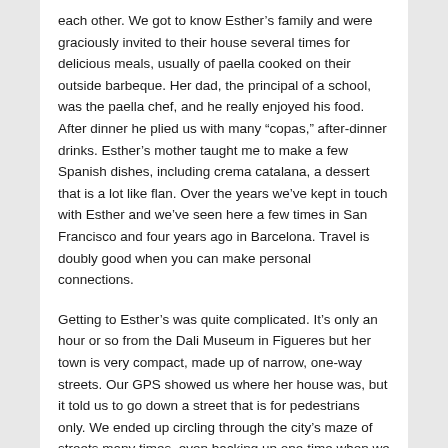each other. We got to know Esther's family and were graciously invited to their house several times for delicious meals, usually of paella cooked on their outside barbeque. Her dad, the principal of a school, was the paella chef, and he really enjoyed his food. After dinner he plied us with many “copas,” after-dinner drinks. Esther’s mother taught me to make a few Spanish dishes, including crema catalana, a dessert that is a lot like flan. Over the years we’ve kept in touch with Esther and we’ve seen here a few times in San Francisco and four years ago in Barcelona. Travel is doubly good when you can make personal connections.
Getting to Esther’s was quite complicated. It’s only an hour or so from the Dali Museum in Figueres but her town is very compact, made up of narrow, one-way streets. Our GPS showed us where her house was, but it told us to go down a street that is for pedestrians only. We ended up circling through the city’s maze of streets many times, even backing up one time when we got stuck on a street that suddenly ended. We eventually found her house,